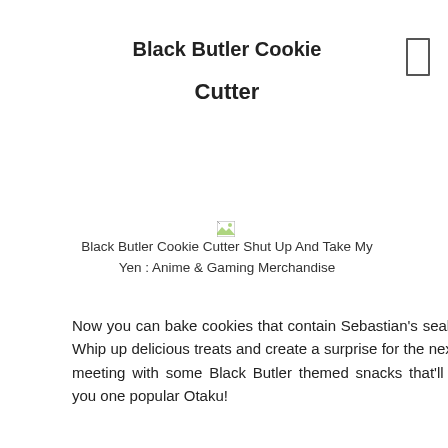Black Butler Cookie Cutter
[Figure (photo): Broken image placeholder with alt text: Black Butler Cookie Cutter Shut Up And Take My Yen : Anime & Gaming Merchandise]
Now you can bake cookies that contain Sebastian's seal of approval! Whip up delicious treats and create a surprise for the next anime club meeting with some Black Butler themed snacks that'll surely make you one popular Otaku!